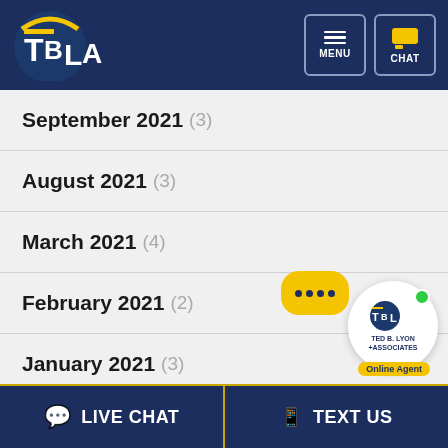[Figure (logo): TBLA law firm logo with header navigation buttons for MENU and CHAT]
September 2021 (3)
August 2021 (3)
March 2021 (4)
February 2021 (2)
January 2021 (3)
December 2020 (3)
November 2020 (3)
[Figure (logo): Ted B. Lyon Associates chat widget with yellow speech bubble and online agent badge]
LIVE CHAT   TEXT US